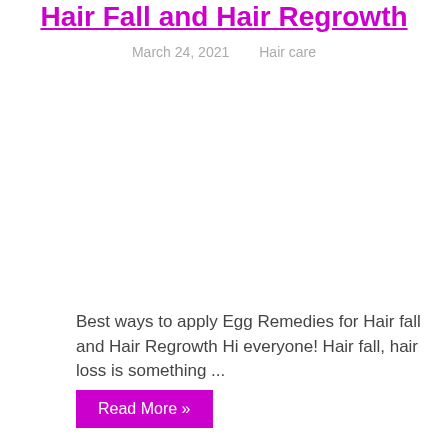Hair Fall and Hair Regrowth
March 24, 2021    Hair care
[Figure (photo): Image placeholder for egg remedies article]
Best ways to apply Egg Remedies for Hair fall and Hair Regrowth Hi everyone! Hair fall, hair loss is something ...
Read More »
Overnight Honey Olive Oil Hair Mask Recipe and